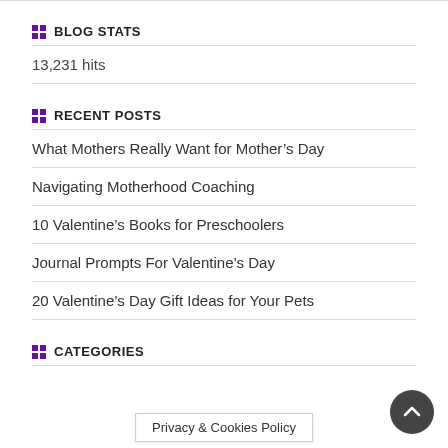BLOG STATS
13,231 hits
RECENT POSTS
What Mothers Really Want for Mother’s Day
Navigating Motherhood Coaching
10 Valentine’s Books for Preschoolers
Journal Prompts For Valentine’s Day
20 Valentine’s Day Gift Ideas for Your Pets
CATEGORIES
Privacy & Cookies Policy